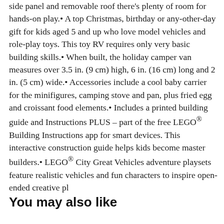side panel and removable roof there's plenty of room for hands-on play.• A top Christmas, birthday or any-other-day gift for kids aged 5 and up who love model vehicles and role-play toys. This toy RV requires only very basic building skills.• When built, the holiday camper van measures over 3.5 in. (9 cm) high, 6 in. (16 cm) long and 2 in. (5 cm) wide.• Accessories include a cool baby carrier for the minifigures, camping stove and pan, plus fried egg and croissant food elements.• Includes a printed building guide and Instructions PLUS – part of the free LEGO® Building Instructions app for smart devices. This interactive construction guide helps kids become master builders.• LEGO® City Great Vehicles adventure playsets feature realistic vehicles and fun characters to inspire open-ended creative pl
You may also like